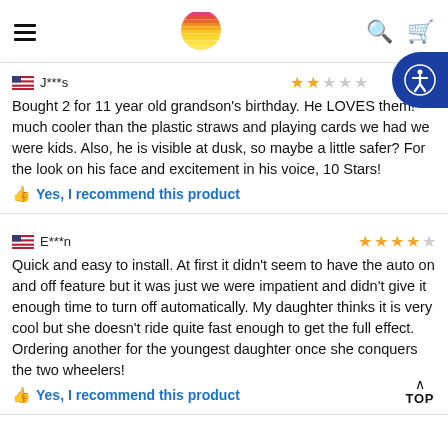Navigation header with hamburger menu, sun logo, search and cart icons
J***s
Bought 2 for 11 year old grandson's birthday. He LOVES them! much cooler than the plastic straws and playing cards we had we were kids. Also, he is visible at dusk, so maybe a little safer? For the look on his face and excitement in his voice, 10 Stars!
Yes, I recommend this product
E***n
Quick and easy to install. At first it didn't seem to have the auto on and off feature but it was just we were impatient and didn't give it enough time to turn off automatically. My daughter thinks it is very cool but she doesn't ride quite fast enough to get the full effect. Ordering another for the youngest daughter once she conquers the two wheelers!
Yes, I recommend this product